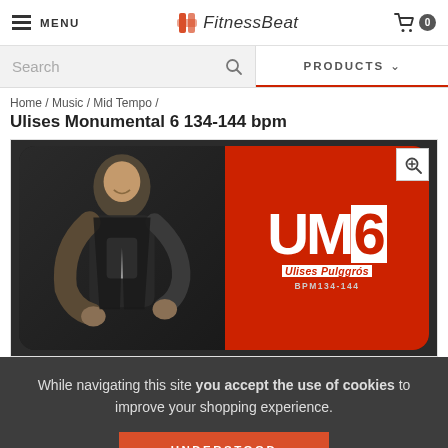MENU | FitnessBeat | 0
Search | PRODUCTS
Home / Music / Mid Tempo /
Ulises Monumental 6 134-144 bpm
[Figure (photo): Product cover image showing a man posing beside large text 'UM6' with 'Ulises Pulggrós' and 'BPM 134-144' on a dark background with red accents]
While navigating this site you accept the use of cookies to improve your shopping experience.
UNDERSTOOD